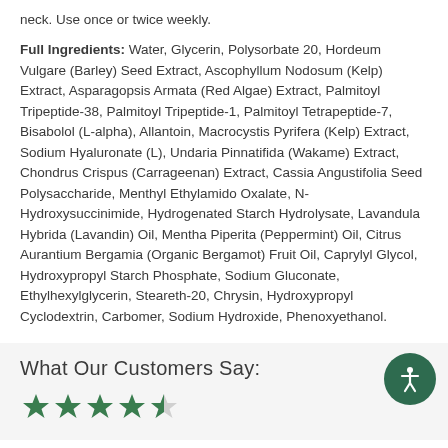neck. Use once or twice weekly.
Full Ingredients: Water, Glycerin, Polysorbate 20, Hordeum Vulgare (Barley) Seed Extract, Ascophyllum Nodosum (Kelp) Extract, Asparagopsis Armata (Red Algae) Extract, Palmitoyl Tripeptide-38, Palmitoyl Tripeptide-1, Palmitoyl Tetrapeptide-7, Bisabolol (L-alpha), Allantoin, Macrocystis Pyrifera (Kelp) Extract, Sodium Hyaluronate (L), Undaria Pinnatifida (Wakame) Extract, Chondrus Crispus (Carrageenan) Extract, Cassia Angustifolia Seed Polysaccharide, Menthyl Ethylamido Oxalate, N-Hydroxysuccinimide, Hydrogenated Starch Hydrolysate, Lavandula Hybrida (Lavandin) Oil, Mentha Piperita (Peppermint) Oil, Citrus Aurantium Bergamia (Organic Bergamot) Fruit Oil, Caprylyl Glycol, Hydroxypropyl Starch Phosphate, Sodium Gluconate, Ethylhexylglycerin, Steareth-20, Chrysin, Hydroxypropyl Cyclodextrin, Carbomer, Sodium Hydroxide, Phenoxyethanol.
What Our Customers Say:
[Figure (other): Star rating graphic showing 4 out of 5 stars (4 filled stars and 1 half star)]